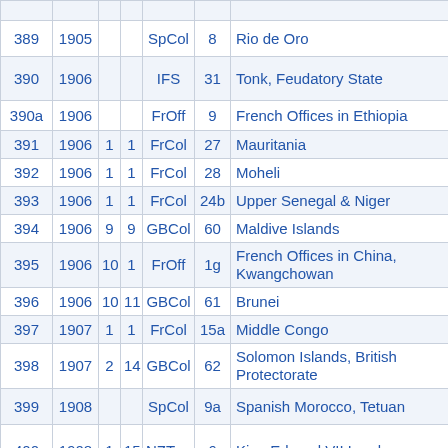| # | Year |  |  | Type | No. | Territory |
| --- | --- | --- | --- | --- | --- | --- |
| 389 | 1905 |  |  | SpCol | 8 | Rio de Oro |
| 390 | 1906 |  |  | IFS | 31 | Tonk, Feudatory State |
| 390a | 1906 |  |  | FrOff | 9 | French Offices in Ethiopia |
| 391 | 1906 | 1 | 1 | FrCol | 27 | Mauritania |
| 392 | 1906 | 1 | 1 | FrCol | 28 | Moheli |
| 393 | 1906 | 1 | 1 | FrCol | 24b | Upper Senegal & Niger |
| 394 | 1906 | 9 | 9 | GBCol | 60 | Maldive Islands |
| 395 | 1906 | 10 | 1 | FrOff | 1g | French Offices in China, Kwangchowan |
| 396 | 1906 | 10 | 11 | GBCol | 61 | Brunei |
| 397 | 1907 | 1 | 1 | FrCol | 15a | Middle Congo |
| 398 | 1907 | 2 | 14 | GBCol | 62 | Solomon Islands, British Protectorate |
| 399 | 1908 |  |  | SpCol | 9a | Spanish Morocco, Tetuan |
| 400 | 1908 | 1 | 15 | NZTerr | 6 | King Edward VII Land |